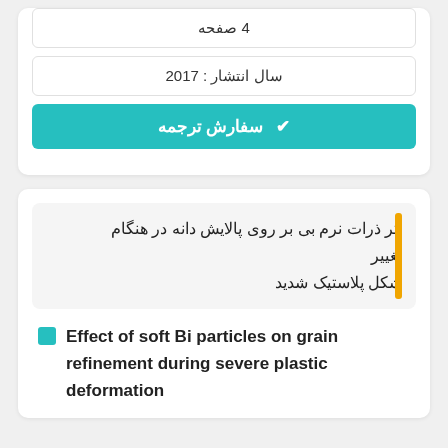4 صفحه
سال انتشار : 2017
✔ سفارش ترجمه
اثر ذرات نرم بی بر روی پالایش دانه در هنگام تغییر شکل پلاستیک شدید
Effect of soft Bi particles on grain refinement during severe plastic deformation